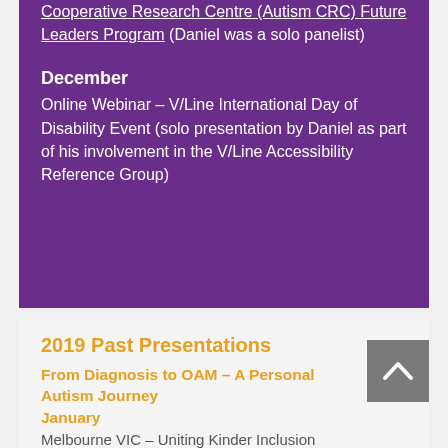Cooperative Research Centre (Autism CRC) Future Leaders Program (Daniel was a solo panelist)
December
Online Webinar – V/Line International Day of Disability Event (solo presentation by Daniel as part of his involvement in the V/Line Accessibility Reference Group)
2019 Past Presentations
From Diagnosis to OAM – A Personal Autism Journey
January
Melbourne VIC – Uniting Kinder Inclusion